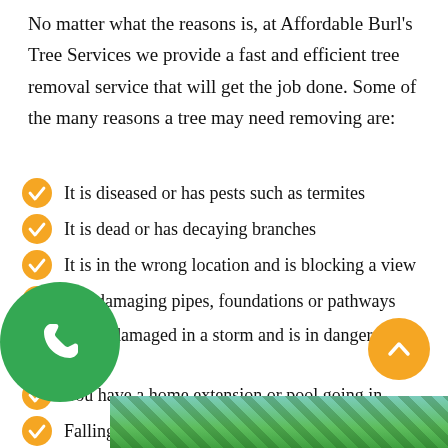No matter what the reasons is, at Affordable Burl's Tree Services we provide a fast and efficient tree removal service that will get the job done. Some of the many reasons a tree may need removing are:
It is diseased or has pests such as termites
It is dead or has decaying branches
It is in the wrong location and is blocking a view
It is damaging pipes, foundations or pathways
It was damaged in a storm and is in danger of falling
You have a home extension or pool going in
Falling leaves and sticks are clogging gutters
[Figure (photo): Green phone call button (circular, bottom left) and orange scroll-up arrow button (circular, bottom right). Bottom strip shows a photo of trees with blue sky.]